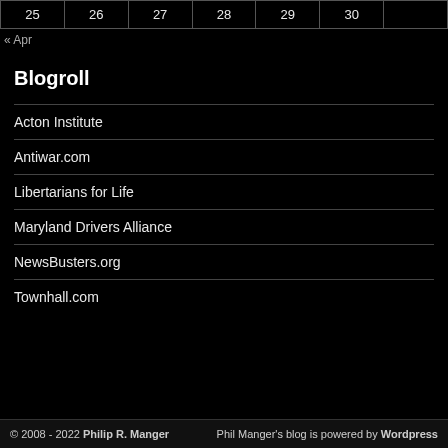| 25 | 26 | 27 | 28 | 29 | 30 |  |
| --- | --- | --- | --- | --- | --- | --- |
« Apr
Blogroll
Acton Institute
Antiwar.com
Libertarians for Life
Maryland Drivers Alliance
NewsBusters.org
Townhall.com
© 2008 - 2022 Philip R. Manger    Phil Manger's blog is powered by Wordpress